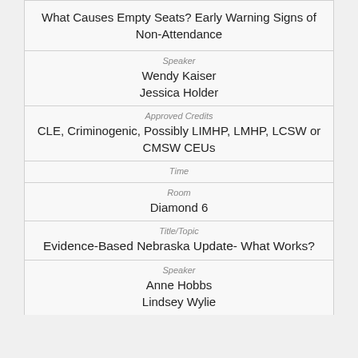What Causes Empty Seats? Early Warning Signs of Non-Attendance
Speaker
Wendy Kaiser
Jessica Holder
Approved Credits
CLE, Criminogenic, Possibly LIMHP, LMHP, LCSW or CMSW CEUs
Time
Room
Diamond 6
Title/Topic
Evidence-Based Nebraska Update- What Works?
Speaker
Anne Hobbs
Lindsey Wylie